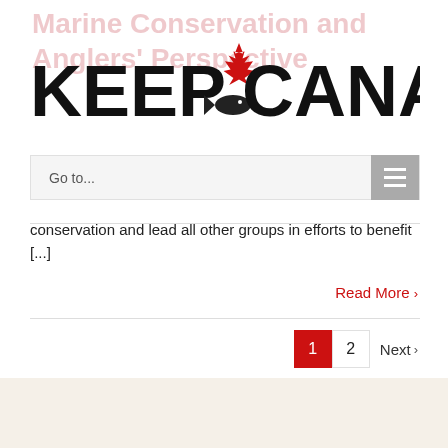Marine Conservation and Anglers' Perspective
[Figure (logo): Keep Canada Fishing logo with fish and maple leaf graphic, bold black and red text reading KEEP CANADA FISHING]
Go to...
conservation and lead all other groups in efforts to benefit [...]
Read More
1 2 Next